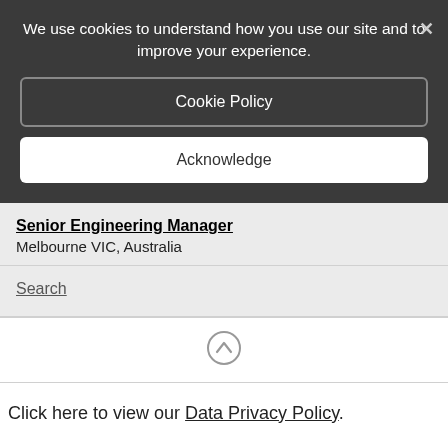We use cookies to understand how you use our site and to improve your experience.
Cookie Policy
Acknowledge
Senior Engineering Manager
Melbourne VIC, Australia
Search
[Figure (other): Scroll to top arrow icon (circle with upward arrow)]
Click here to view our Data Privacy Policy.